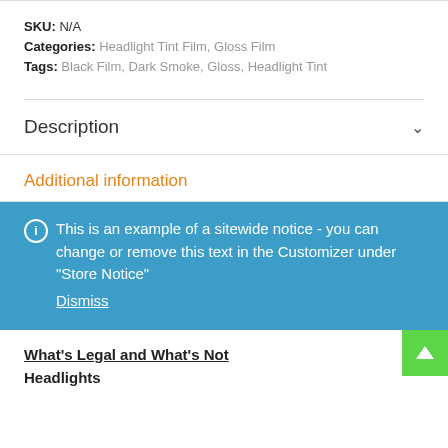SKU: N/A
Categories: Headlight Tint Film, Gloss Film
Tags: Black Film, Dark Smoke, Gloss, Headlight Tint
Description
Additional information
This is an example of a sitewide notice - you can change or remove this text in the Customizer under "Store Notice" Dismiss
What's Legal and What's Not
Headlights